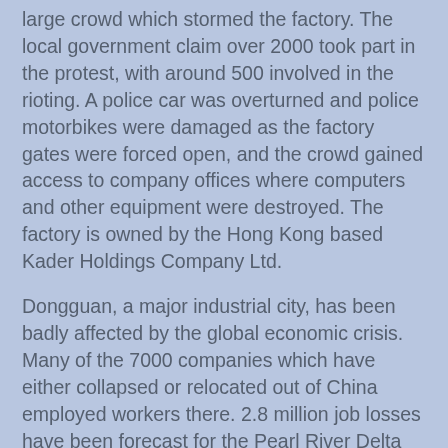large crowd which stormed the factory. The local government claim over 2000 took part in the protest, with around 500 involved in the rioting. A police car was overturned and police motorbikes were damaged as the factory gates were forced open, and the crowd gained access to company offices where computers and other equipment were destroyed. The factory is owned by the Hong Kong based Kader Holdings Company Ltd.
Dongguan, a major industrial city, has been badly affected by the global economic crisis. Many of the 7000 companies which have either collapsed or relocated out of China employed workers there. 2.8 million job losses have been forecast for the Pearl River Delta as part of government and industry estimates. At least 67,000 factories have closed in China this year.
The rise in layoffs and wage cuts has seen a corresponding rise in strikes, protests and riots by workers attempting to defend themselves. In October, 7000 workers employed by the Smart Union factory in Dongguan - who manufacture toys for Mattel, Disney and Hasbro - struck and occupied the